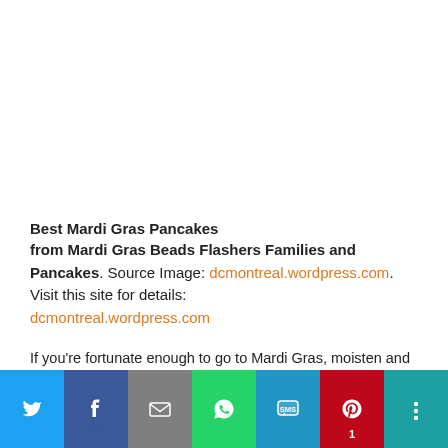Best Mardi Gras Pancakes
from Mardi Gras Beads Flashers Families and Pancakes. Source Image: dcmontreal.wordpress.com. Visit this site for details: dcmontreal.wordpress.com
If you're fortunate enough to go to Mardi Gras, moisten and also maintain that stomach full, as well as for goodness purposes do not rely upon power bars. This is New Orleans, home to a few of America's very best grub. Here are a few of the best low-cost consumes alcohol as well
[Figure (other): Social sharing bar with Twitter, Facebook, Email, WhatsApp, SMS, Pinterest (count: 1), and More buttons]